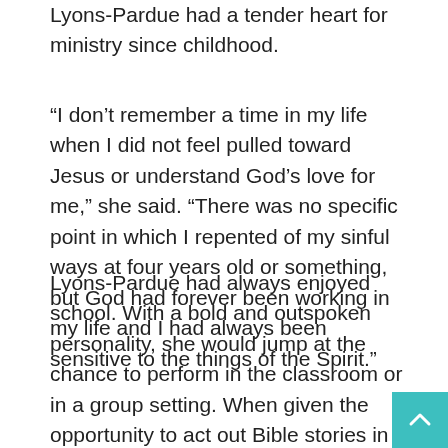Lyons-Pardue had a tender heart for ministry since childhood.
“I don’t remember a time in my life when I did not feel pulled toward Jesus or understand God’s love for me,” she said. “There was no specific point in which I repented of my sinful ways at four years old or something, but God had forever been working in my life and I had always been sensitive to the things of the Spirit.”
Lyons-Pardue had always enjoyed school. With a bold and outspoken personality, she would jump at the chance to perform in the classroom or in a group setting. When given the opportunity to act out Bible stories in Sunday school, Lyons-Pardue would offer to play the lead roles which were often men’s roles.